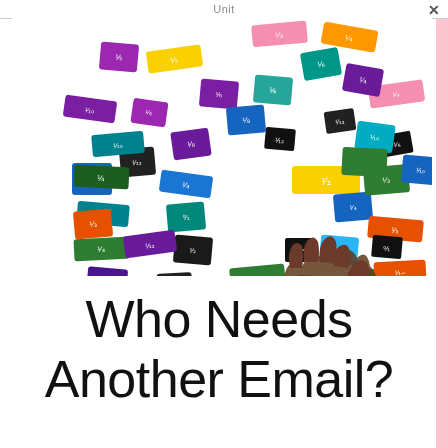Unit
[Figure (photo): A child's hand holding a small fraction tile card among many colorful fraction tiles scattered on a white surface. Tiles show various fractions like 1/2, 1/3, 1/4, 1/5, 1/6, 1/8, 1/10, 1/12 in colors including blue, green, orange, purple, teal, yellow, pink, and black.]
Who Needs Another Email?